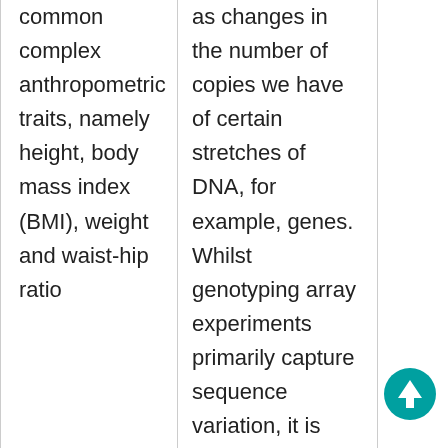common complex anthropometric traits, namely height, body mass index (BMI), weight and waist-hip ratio
as changes in the number of copies we have of certain stretches of DNA, for example, genes. Whilst genotyping array experiments primarily capture sequence variation, it is possible to use the raw data from these experiments to measure “copy number variation” (CNV). In this project, we will utilise this raw data to measure CNV in